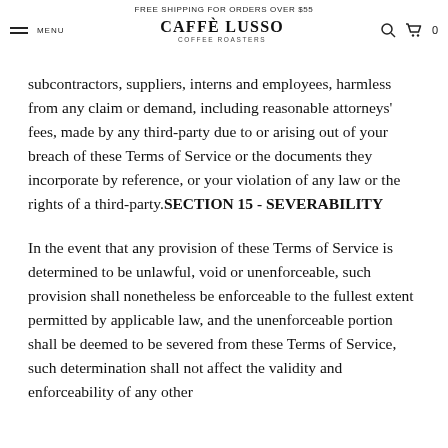FREE SHIPPING FOR ORDERS OVER $55
CAFFÈ LUSSO COFFEE ROASTERS
subcontractors, suppliers, interns and employees, harmless from any claim or demand, including reasonable attorneys' fees, made by any third-party due to or arising out of your breach of these Terms of Service or the documents they incorporate by reference, or your violation of any law or the rights of a third-party.SECTION 15 - SEVERABILITY
In the event that any provision of these Terms of Service is determined to be unlawful, void or unenforceable, such provision shall nonetheless be enforceable to the fullest extent permitted by applicable law, and the unenforceable portion shall be deemed to be severed from these Terms of Service, such determination shall not affect the validity and enforceability of any other